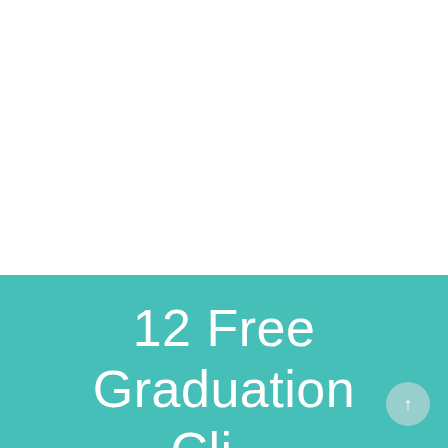[Figure (other): White background top section of a webpage]
12 Free Graduation Cli...